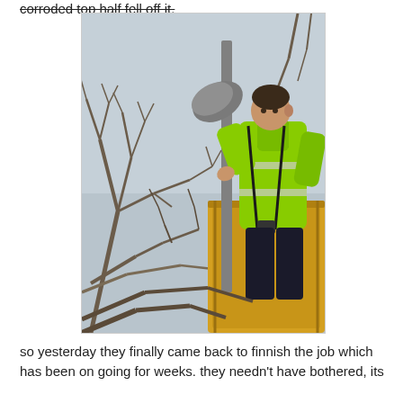corroded top half fell off it.
[Figure (photo): A worker in a high-visibility yellow/green jacket standing in a cherry picker or elevated platform, holding/examining a street lamp head, surrounded by bare tree branches against a grey overcast sky.]
so yesterday they finally came back to finnish the job which has been on going for weeks. they needn't have bothered, its